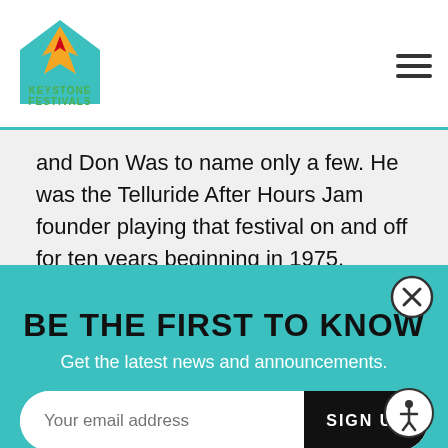Keystone Festivals logo and navigation
and Don Was to name only a few. He was the Telluride After Hours Jam founder playing that festival on and off for ten years beginning in 1975.
Interested in our other Mountain Town Music Series? We will see you July 10th,
BE THE FIRST TO KNOW
Get the latest news and announcements.
Your email address
SIGN UP